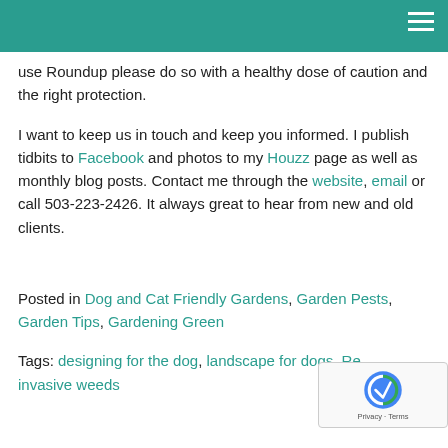use Roundup please do so with a healthy dose of caution and the right protection.
I want to keep us in touch and keep you informed. I publish tidbits to Facebook and photos to my Houzz page as well as monthly blog posts. Contact me through the website, email or call 503-223-2426. It always great to hear from new and old clients.
Posted in Dog and Cat Friendly Gardens, Garden Pests, Garden Tips, Gardening Green
Tags: designing for the dog, landscape for dogs, Re... invasive weeds